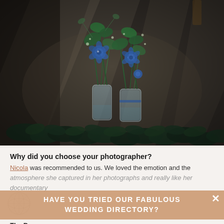[Figure (photo): Wedding floral arrangement: two glass jar vases with blue anemone flowers and green foliage on a dark wooden table, with a garland of green leaves in the foreground, dramatic diagonal light and shadow patterns]
Why did you choose your photographer?
Nicola was recommended to us. We loved the emotion and the atmosphere she captured in her photographs and really like her documentary
HAVE YOU TRIED OUR FABULOUS WEDDING DIRECTORY?
The Dress
The dress was...